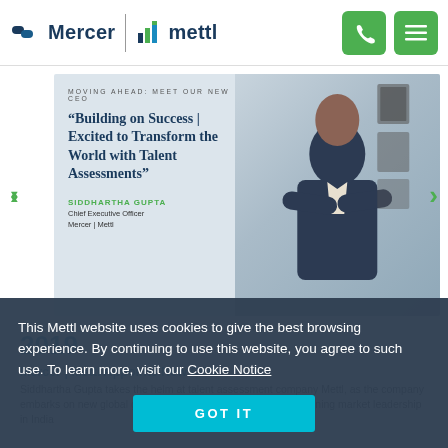Mercer | Mettl logo and navigation header
[Figure (screenshot): Banner carousel with CEO quote. Label reads 'MOVING AHEAD: MEET OUR NEW CEO'. Quote: "Building on Success | Excited to Transform the World with Talent Assessments". Name: SIDDHARTHA GUPTA, Chief Executive Officer, Mercer | Mettl. Photo of man in suit with arms crossed on right side.]
2019
Mercer | Mettl Appoints New CEO
Siddhartha Gupta takes the helm at talent assessment company Mettl, as the company embarks on new global growth initiatives while further strengthening market leadership in India
This Mettl website uses cookies to give the best browsing experience. By continuing to use this website, you agree to such use. To learn more, visit our Cookie Notice
GOT IT